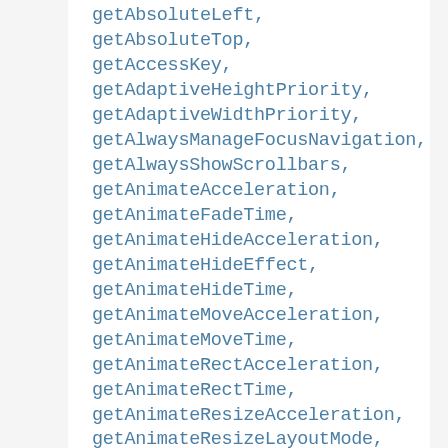getAbsoluteLeft, getAbsoluteTop,
getAccessKey,
getAdaptiveHeightPriority,
getAdaptiveWidthPriority,
getAlwaysManageFocusNavigation,
getAlwaysShowScrollbars,
getAnimateAcceleration,
getAnimateFadeTime,
getAnimateHideAcceleration,
getAnimateHideEffect,
getAnimateHideTime,
getAnimateMoveAcceleration,
getAnimateMoveTime,
getAnimateRectAcceleration,
getAnimateRectTime,
getAnimateResizeAcceleration,
getAnimateResizeLayoutMode,
getAnimateResizeTime,
getAnimateScrollAcceleration,
getAnimateScrollTime,
getAnimateShowAcceleration,